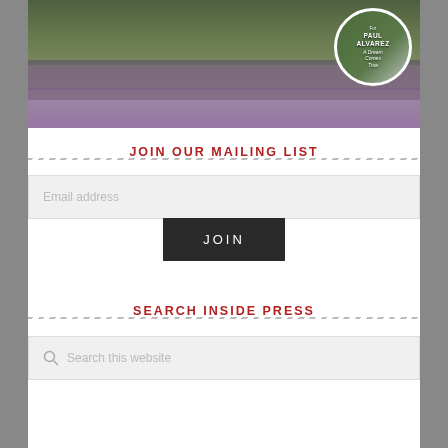[Figure (photo): Group photo with multiple people outdoors on grass, with a circular portrait inset showing a man in a suit. Text on inset reads 'For PAUL ALVAREZ A Dream Comes True']
JOIN OUR MAILING LIST
Email address (input field placeholder)
JOIN (button)
SEARCH INSIDE PRESS
Search this website (search input placeholder)